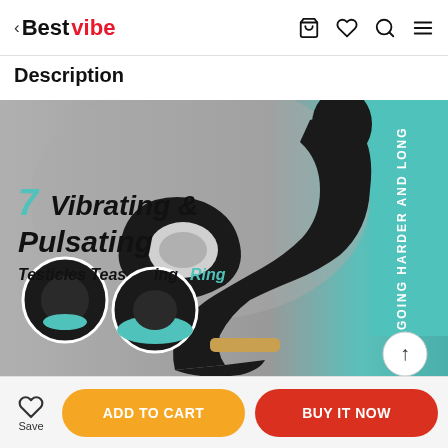< Bestvibe
Description
[Figure (photo): Product photo of a black vibrating prostate massager with testicle ring. Text overlay reads '7 Vibrating & Pulsating Testicles Teasing Ring'. Teal banner on right side reads 'GOING HARDER AND LONG'. Close-up detail circles show texture. Scroll-up arrow button in bottom right corner.]
ADD TO CART
BUY IT NOW